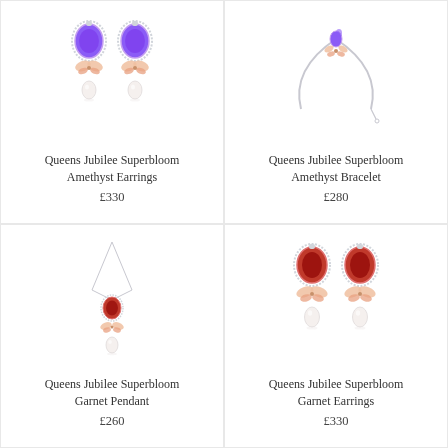[Figure (photo): Queens Jubilee Superbloom Amethyst Earrings — a pair of drop earrings with purple amethyst oval stones, diamond halo, rose gold butterfly, and white pearl drop]
Queens Jubilee Superbloom Amethyst Earrings
£330
[Figure (photo): Queens Jubilee Superbloom Amethyst Bracelet — a delicate silver bangle with amethyst stone and small flower/butterfly detail]
Queens Jubilee Superbloom Amethyst Bracelet
£280
[Figure (photo): Queens Jubilee Superbloom Garnet Pendant — a silver chain necklace with small garnet oval stone, rose gold butterfly, and pearl drop]
Queens Jubilee Superbloom Garnet Pendant
£260
[Figure (photo): Queens Jubilee Superbloom Garnet Earrings — a pair of drop earrings with red garnet oval stones, diamond halo, rose gold butterfly, and white pearl drop]
Queens Jubilee Superbloom Garnet Earrings
£330